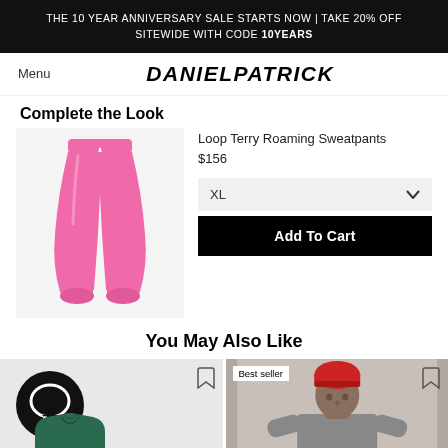THE 10 YEAR ANNIVERSARY SALE STARTS NOW | TAKE 20% OFF SITEWIDE WITH CODE 10YEARS
DANIELPATRICK
Complete the Look
[Figure (photo): Pink Loop Terry Roaming Sweatpants product photo on white/light background]
Loop Terry Roaming Sweatpants
$156
XL
Add To Cart
You May Also Like
[Figure (photo): Green t-shirt with chat bubble logo overlay on light background]
[Figure (photo): Man wearing red beanie and grey long sleeve shirt; Best seller badge shown]